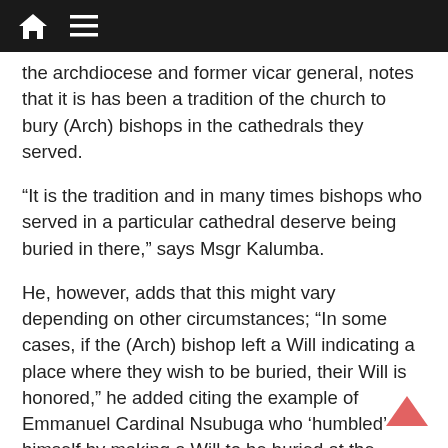[navigation bar with home and menu icons]
the archdiocese and former vicar general, notes that it is has been a tradition of the church to bury (Arch) bishops in the cathedrals they served.
“It is the tradition and in many times bishops who served in a particular cathedral deserve being buried in there,” says Msgr Kalumba.
He, however, adds that this might vary depending on other circumstances; “In some cases, if the (Arch) bishop left a Will indicating a place where they wish to be buried, their Will is honored,” he added citing the example of Emmanuel Cardinal Nsubuga who ‘humbled’ himself by making a Will to be buried at the Bakateyamba Home which he founded.